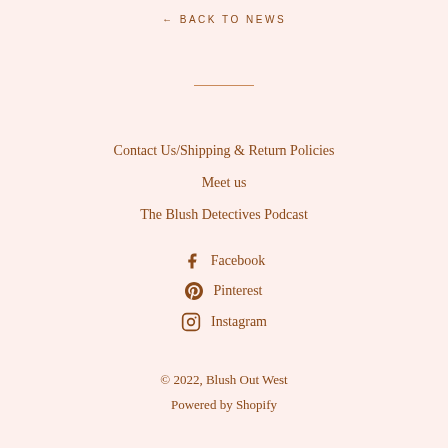← BACK TO NEWS
Contact Us/Shipping & Return Policies
Meet us
The Blush Detectives Podcast
Facebook
Pinterest
Instagram
© 2022, Blush Out West
Powered by Shopify